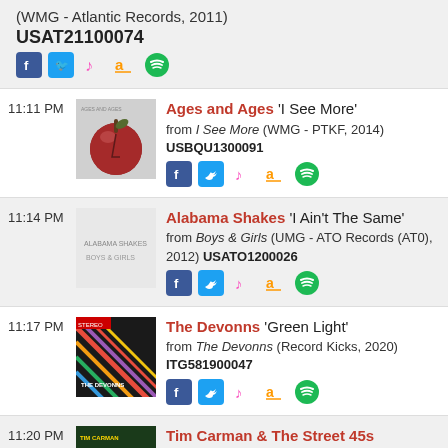(WMG - Atlantic Records, 2011) USAT21100074
Ages and Ages 'I See More' from I See More (WMG - PTKF, 2014) USBQU1300091
Alabama Shakes 'I Ain't The Same' from Boys & Girls (UMG - ATO Records (AT0), 2012) USATO1200026
The Devonns 'Green Light' from The Devonns (Record Kicks, 2020) ITG581900047
11:20 PM Tim Carman & The Street 45s